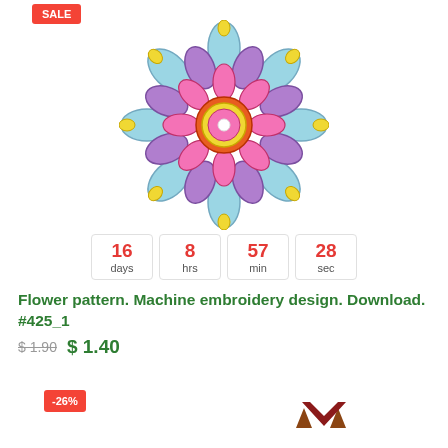[Figure (illustration): Colorful mandala-style flower machine embroidery design with blue, purple, pink, yellow, and red petals arranged symmetrically]
16 days  8 hrs  57 min  28 sec (countdown timer)
Flower pattern. Machine embroidery design. Download. #425_1
$1.90  $ 1.40
[Figure (illustration): -26% badge and partial embroidery design preview at bottom of page]